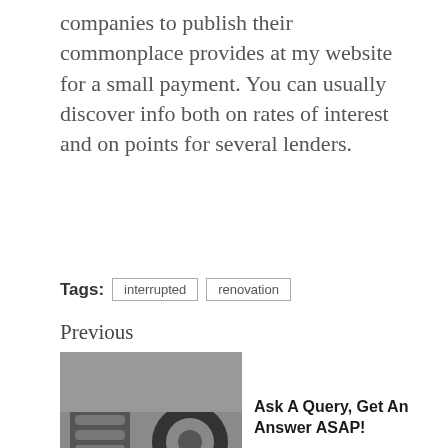companies to publish their commonplace provides at my website for a small payment. You can usually discover info both on rates of interest and on points for several lenders.
Tags: interrupted renovation
Previous
[Figure (photo): Black and white photo of a car tire and coil spring suspension component]
Ask A Query, Get An Answer ASAP!
Next
Search Engine Optimization (SEARCH ENGINE MARKETING) Course of
[Figure (photo): Color photo of a mechanic in a red cap working on something]